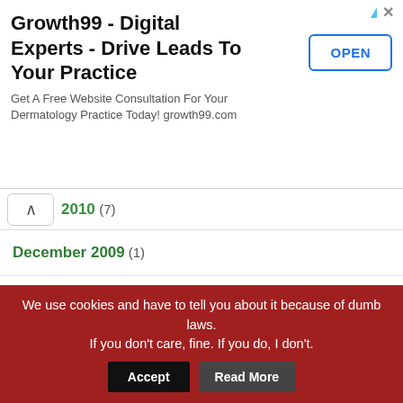[Figure (screenshot): Advertisement banner for Growth99 - Digital Experts with OPEN button]
2010 (7)
December 2009 (1)
November 2009 (4)
October 2009 (2)
September 2009 (5)
August 2009 (11)
July 2009 (7)
June 2009 (6)
We use cookies and have to tell you about it because of dumb laws. If you don't care, fine. If you do, I don't.